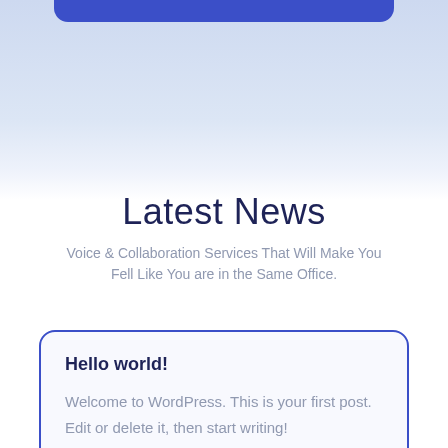[Figure (illustration): Light blue gradient hero background with a dark blue rounded bar at the top center]
Latest News
Voice & Collaboration Services That Will Make You Fell Like You are in the Same Office.
Hello world!
Welcome to WordPress. This is your first post. Edit or delete it, then start writing!